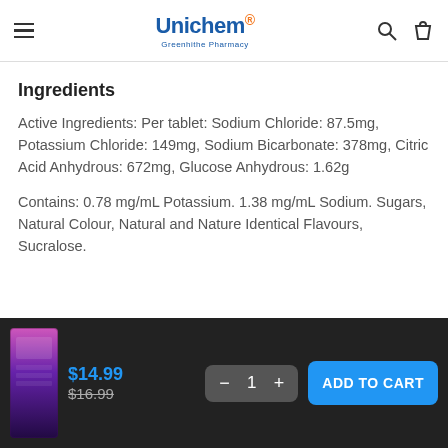Unichem® Greenhithe Pharmacy
Ingredients
Active Ingredients: Per tablet: Sodium Chloride: 87.5mg, Potassium Chloride: 149mg, Sodium Bicarbonate: 378mg, Citric Acid Anhydrous: 672mg, Glucose Anhydrous: 1.62g
Contains: 0.78 mg/mL Potassium. 1.38 mg/mL Sodium. Sugars, Natural Colour, Natural and Nature Identical Flavours, Sucralose.